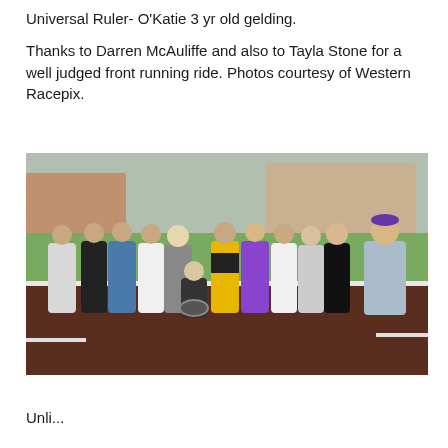Universal Ruler- O'Katie 3 yr old gelding.

Thanks to Darren McAuliffe and also to Tayla Stone for a well judged front running ride. Photos courtesy of Western Racepix.
[Figure (photo): Group photo of approximately 12 people standing and one person in a wheelchair on a racecourse track. A jockey in yellow and black silks is visible in the centre. The racecourse grandstand is visible in the background.]
Unfinished text at bottom of page (partial, cut off)